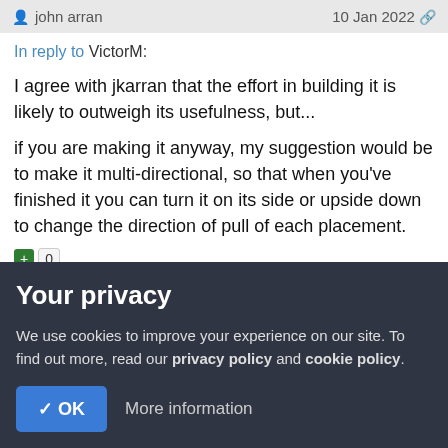john arran   10 Jan 2022
In reply to VictorM:
I agree with jkarran that the effort in building it is likely to outweigh its usefulness, but...
if you are making it anyway, my suggestion would be to make it multi-directional, so that when you've finished it you can turn it on its side or upside down to change the direction of pull of each placement.
Your privacy
We use cookies to improve your experience on our site. To find out more, read our privacy policy and cookie policy.
✓ OK   More information